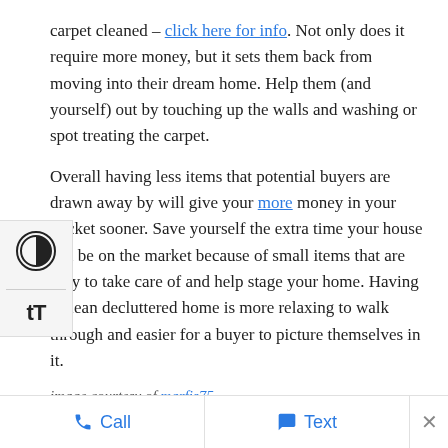carpet cleaned – click here for info. Not only does it require more money, but it sets them back from moving into their dream home. Help them (and yourself) out by touching up the walls and washing or spot treating the carpet.
Overall having less items that potential buyers are drawn away by will give your more money in your pocket sooner. Save yourself the extra time your house can be on the market because of small items that are easy to take care of and help stage your home. Having a clean decluttered home is more relaxing to walk through and easier for a buyer to picture themselves in it.
image courtesy of marfis75
Related Posts
Call   Text   ×